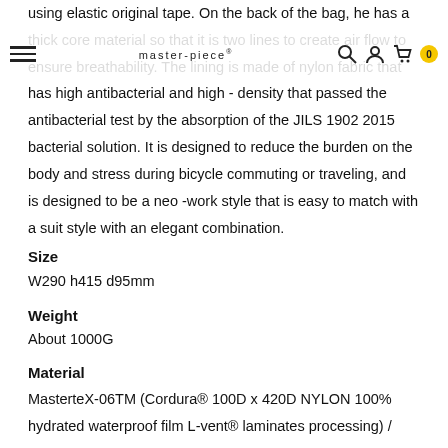master-piece®
using elastic original tape. On the back of the bag, he has a thick core material so that it is two lines to create air flow to ensure breathability. The lining is made of nylon fabric that has high antibacterial and high - density that passed the antibacterial test by the absorption of the JILS 1902 2015 bacterial solution. It is designed to reduce the burden on the body and stress during bicycle commuting or traveling, and is designed to be a neo -work style that is easy to match with a suit style with an elegant combination.
Size
W290 h415 d95mm
Weight
About 1000G
Material
MasterteX-06TM (Cordura® 100D x 420D NYLON 100% hydrated waterproof film L-vent® laminates processing) / MasterteX-05TM